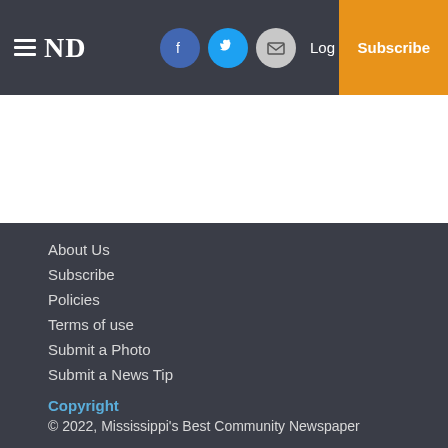≡ ND | Facebook | Twitter | Email | Log In | Subscribe
About Us
Subscribe
Policies
Terms of use
Submit a Photo
Submit a News Tip
Copyright
© 2022, Mississippi's Best Community Newspaper